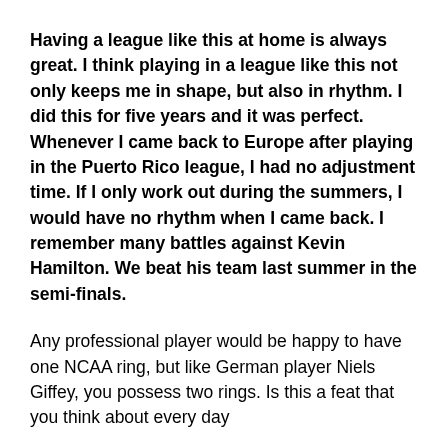Having a league like this at home is always great. I think playing in a league like this not only keeps me in shape, but also in rhythm. I did this for five years and it was perfect. Whenever I came back to Europe after playing in the Puerto Rico league, I had no adjustment time. If I only work out during the summers, I would have no rhythm when I came back. I remember many battles against Kevin Hamilton. We beat his team last summer in the semi-finals.
Any professional player would be happy to have one NCAA ring, but like German player Niels Giffey, you possess two rings. Is this a feat that you think about every day
Of course I do. The last time a team won back to back NCAA championships was...